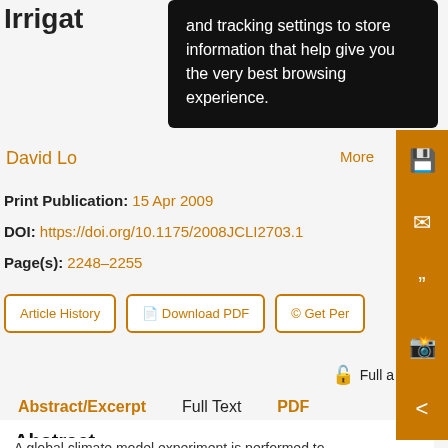Irrigat
and tracking settings to store information that help give you the very best browsing experience.
David Lo
More
Print Publication: 15 Apr 2009
DOI: https://doi.org/10.1175/2008JCLI2703.1
Page(s): 2248–2255
Article History   Download PDF   © Get Per
Full a
Abstract/Excerpt   Full Text   PDF
Abstract
A global climate model experiment is performed to